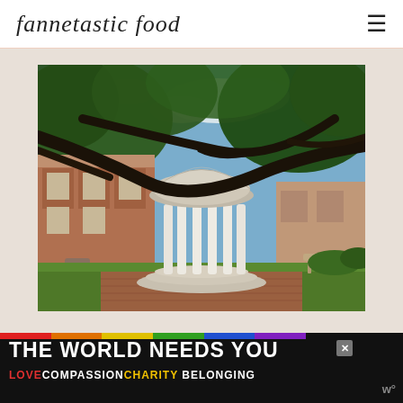fannetastic food
[Figure (photo): Outdoor photo of the Old Well at UNC Chapel Hill — a white domed rotunda with columns on a circular stepped platform, surrounded by large oak trees with spreading branches. A brick building is visible in the background. The sky is partly cloudy.]
[Figure (infographic): Advertisement banner with black background and rainbow stripe. Text reads 'THE WORLD NEEDS YOU' in large white bold letters with a close button. Below: 'LOVE' in red, 'COMPASSION' in white, 'CHARITY' in yellow, 'BELONGING' in white. A logo with 'w°' appears at the bottom right.]